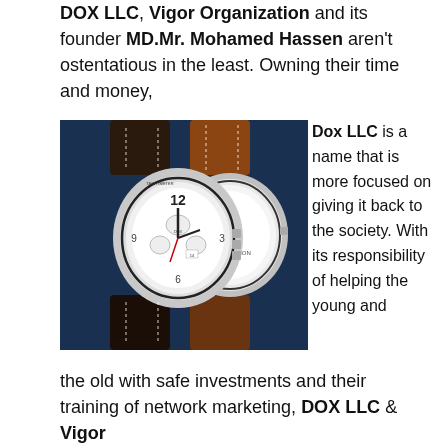DOX LLC, Vigor Organization and its founder MD.Mr. Mohamed Hassen aren't ostentatious in the least. Owning their time and money,
[Figure (photo): Two luxury chronograph watches with white dials and leather straps (one dark brown, one tan/brown) displayed against a dark blue background.]
Dox LLC is a name that is more focused on giving it back to the society. With its responsibility of helping the young and the old with safe investments and their training of network marketing, DOX LLC & Vigor Organization...